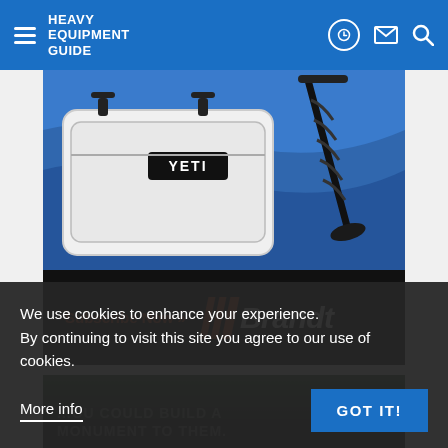Heavy Equipment Guide
[Figure (photo): YETI cooler product photo against blue water background, with ice auger drill attachment resting against it]
[Figure (advertisement): Brandt advertisement banner with Subscribe Now text in orange and Brandt logo with orange stripes on black background]
[Figure (photo): Dark outdoor photo with text overlay reading YOU COULD BUILD A MONUMENT TO THEM]
We use cookies to enhance your experience. By continuing to visit this site you agree to our use of cookies.
More info
GOT IT!